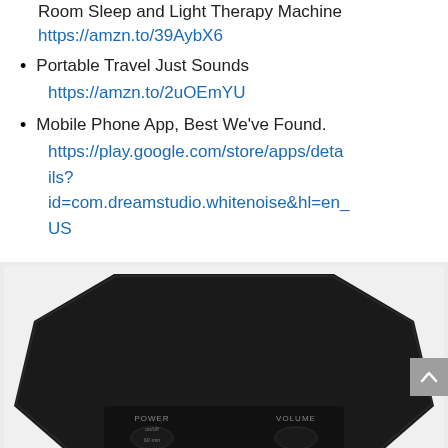Room Sleep and Light Therapy Machine https://amzn.to/39AybX6
Portable Travel Just Sounds https://amzn.to/2uOEmYU
Mobile Phone App, Best We've Found. https://play.google.com/store/apps/details?id=com.dreamstudio.whitenoise&hl=en_US
[Figure (photo): Black octagonal white noise sound machine with POWER, VOLUME, FAN SOUNDS, and WHITE NOISES buttons/controls on the front panel]